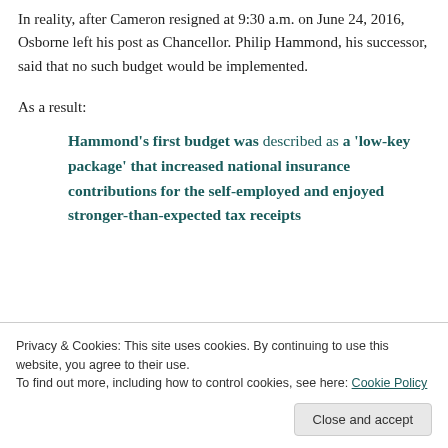In reality, after Cameron resigned at 9:30 a.m. on June 24, 2016, Osborne left his post as Chancellor. Philip Hammond, his successor, said that no such budget would be implemented.
As a result:
Hammond's first budget was described as a 'low-key package' that increased national insurance contributions for the self-employed and enjoyed stronger-than-expected tax receipts
Privacy & Cookies: This site uses cookies. By continuing to use this website, you agree to their use.
To find out more, including how to control cookies, see here: Cookie Policy